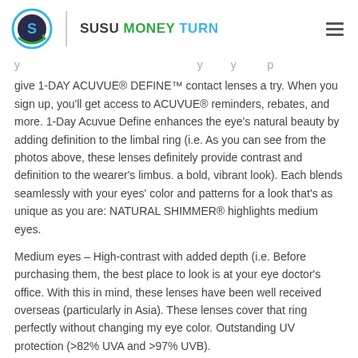SUSU MONEY TURN
give 1-DAY ACUVUE® DEFINE™ contact lenses a try. When you sign up, you'll get access to ACUVUE® reminders, rebates, and more. 1-Day Acuvue Define enhances the eye's natural beauty by adding definition to the limbal ring (i.e. As you can see from the photos above, these lenses definitely provide contrast and definition to the wearer's limbus. a bold, vibrant look). Each blends seamlessly with your eyes' color and patterns for a look that's as unique as you are: NATURAL SHIMMER® highlights medium eyes.
Medium eyes – High-contrast with added depth (i.e. Before purchasing them, the best place to look is at your eye doctor's office. With this in mind, these lenses have been well received overseas (particularly in Asia). These lenses cover that ring perfectly without changing my eye color. Outstanding UV protection (>82% UVA and >97% UVB). Light eyes – A bold look with impactful contrast and